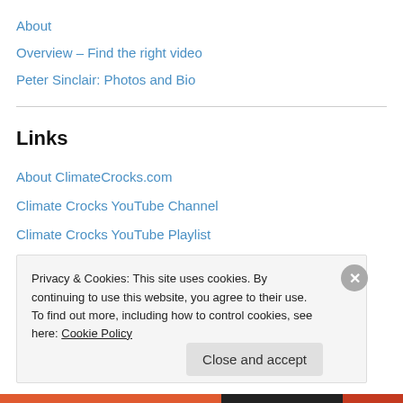About
Overview – Find the right video
Peter Sinclair: Photos and Bio
Links
About ClimateCrocks.com
Climate Crocks YouTube Channel
Climate Crocks YouTube Playlist
Home
Renewable Energy Solution of the Month
Yale Climate Forum Playlist
Privacy & Cookies: This site uses cookies. By continuing to use this website, you agree to their use.
To find out more, including how to control cookies, see here: Cookie Policy
Close and accept